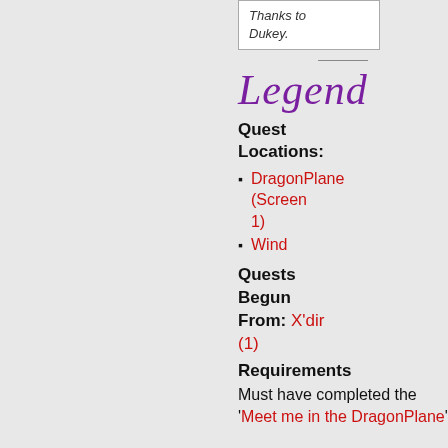Thanks to Dukey.
Legend
Quest Locations:
DragonPlane (Screen 1)
Wind
Quests Begun From: X'dir (1)
Requirements
Must have completed the 'Meet me in the DragonPlane'